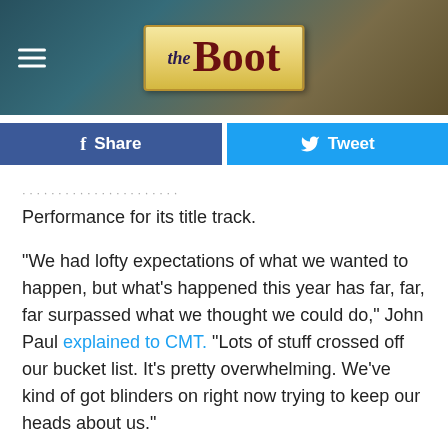[Figure (logo): The Boot website logo — stylized text 'the Boot' on a gold/cream label background, with dark textured jeans/denim in the background. Hamburger menu icon on the left.]
[Figure (infographic): Social sharing buttons row: Facebook Share button (dark blue) and Twitter Tweet button (light blue)]
Performance for its title track.
"We had lofty expectations of what we wanted to happen, but what's happened this year has far, far, far surpassed what we thought we could do," John Paul explained to CMT. "Lots of stuff crossed off our bucket list. It's pretty overwhelming. We've kind of got blinders on right now trying to keep our heads about us."
The Civil Wars can also be heard on the soundtrack for the highly-anticipated movie, 'The Hunger Games.' Their song